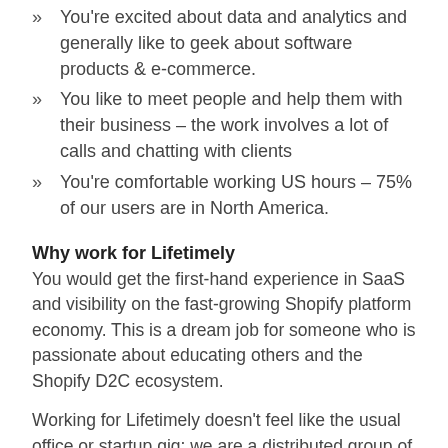You're excited about data and analytics and generally like to geek about software products & e-commerce.
You like to meet people and help them with their business – the work involves a lot of calls and chatting with clients
You're comfortable working US hours – 75% of our users are in North America.
Why work for Lifetimely
You would get the first-hand experience in SaaS and visibility on the fast-growing Shopify platform economy. This is a dream job for someone who is passionate about educating others and the Shopify D2C ecosystem.
Working for Lifetimely doesn't feel like the usual office or startup gig: we are a distributed group of ten people across ten different countries 🇦🇺 🇧🇷 🇫🇮 🇩🇪 🇮🇳 🇮🇹 🇳🇴 🇵🇰 🇸🇪 🇺🇸 with our own way of working. Some of us are nomads, some just like working remotely. We highly encourage written (long-form) communication and documenting things on Notion and